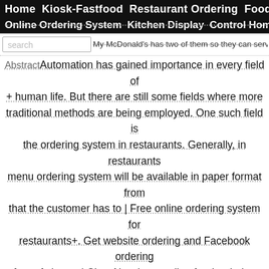Home  Kiosk-Fastfood  Restaurant Ordering  Foodcart
Online Ordering System Kitchen Display Control Home
My McDonald's has two of them so they can service fou |
search
Abstract Automation has gained importance in every field of +human life. But there are still some fields where more traditional methods are being employed. One such field is the ordering system in restaurants. Generally, in restaurants menu ordering system will be available in paper format from that the customer has to | Free online ordering system for restaurants+. Get website ordering and Facebook ordering free of charge | ChowNow is an online food ordering system and marketing platform helping restaurants+feed their hungry customers| Simply+Ordering System is a website or mobile application through which users can order food online from a food cooperative or even a native restaurant. Ordering food online is similar to online shopping buying goods online. Book your Free Demo now and know more! So, once user places an online | The FB business is hard work. We